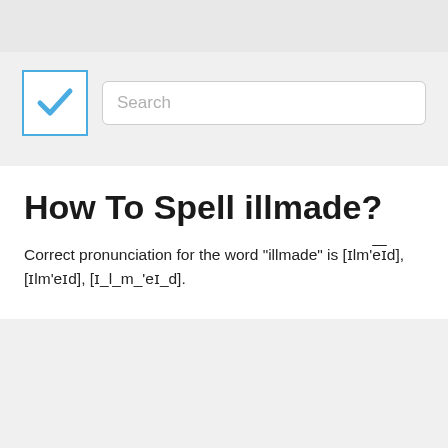[Figure (screenshot): Top navigation bar with a blue-checkmark icon and a search input box with placeholder text 'Search']
How To Spell illmade?
Correct pronunciation for the word "illmade" is [ɪlm'eɪd], [ɪlm'eɪd], [ɪ_l_m_'eɪ_d].